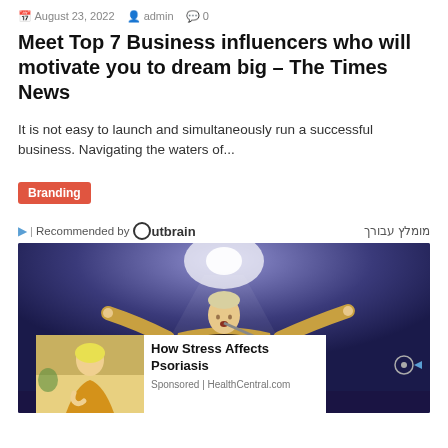August 23, 2022   admin   0
Meet Top 7 Business influencers who will motivate you to dream big – The Times News
It is not easy to launch and simultaneously run a successful business. Navigating the waters of...
Branding
Recommended by Outbrain   מומלץ עבורך
[Figure (photo): Concert photo of a performer with arms outstretched in front of a microphone, wearing a golden/tan robe, purple-blue stage lighting with spotlight]
[Figure (photo): Ad overlay: woman in yellow sweater looking at her arm, with text 'How Stress Affects Psoriasis' and 'Sponsored | HealthCentral.com']